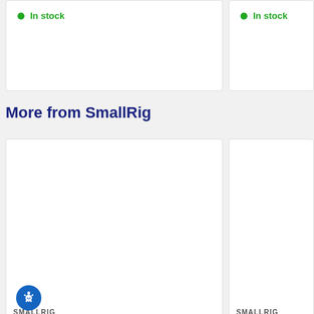In stock
In stock
More from SmallRig
[Figure (photo): Left product card - empty white card for SmallRig product]
[Figure (photo): Right product card - empty white card for SmallRig product]
SMALLRIG
SMALLRIG